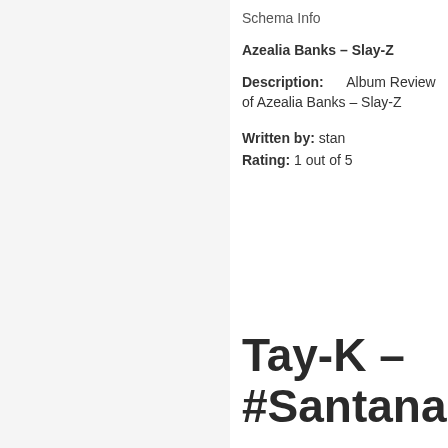Schema Info
Azealia Banks – Slay-Z
Description: Album Review of Azealia Banks – Slay-Z
Written by: stan
Rating: 1 out of 5
Tay-K – #Santana